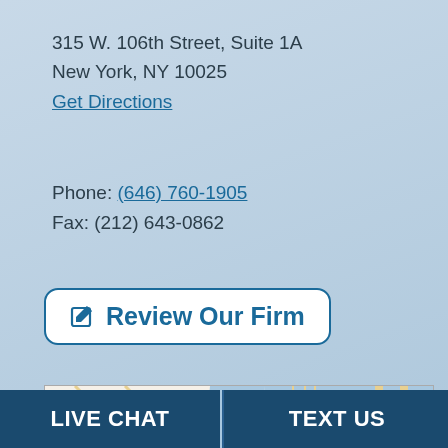315 W. 106th Street, Suite 1A
New York, NY 10025
Get Directions
Phone: (646) 760-1905
Fax: (212) 643-0862
Review Our Firm
[Figure (map): Google Maps screenshot showing location pin in Manhattan/North Bergen area near 315 W. 106th Street, New York. Map shows Hudson River, Manhattan, Upper East Side, North Bergen, Rutherford area.]
LIVE CHAT
TEXT US